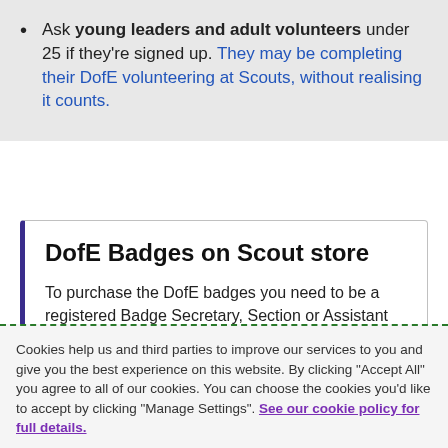Ask young leaders and adult volunteers under 25 if they're signed up. They may be completing their DofE volunteering at Scouts, without realising it counts.
DofE Badges on Scout store
To purchase the DofE badges you need to be a registered Badge Secretary, Section or Assistant Section Leader or a County or District Administrator.
Buy the Gold badge
Buy the Silver badge
Cookies help us and third parties to improve our services to you and give you the best experience on this website. By clicking "Accept All" you agree to all of our cookies. You can choose the cookies you'd like to accept by clicking "Manage Settings". See our cookie policy for full details.